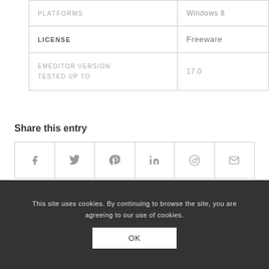|  |  |
| --- | --- |
| PLATFORMS | Windows 8 |
| LICENSE | Freeware |
| EMEDITOR VERSION TESTED UP TO | 17.0 |
Share this entry
[Figure (other): Social share icons row: Facebook, Twitter, Pinterest, LinkedIn, Reddit, Email]
This site uses cookies. By continuing to browse the site, you are agreeing to our use of cookies.
OK